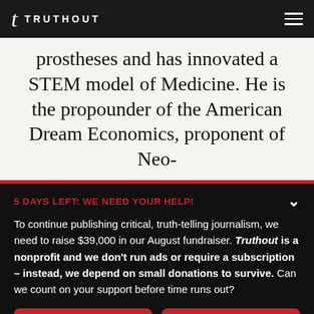TRUTHOUT
prostheses and has innovated a STEM model of Medicine. He is the propounder of the American Dream Economics, proponent of Neo-
5 DAYS LEFT: WE NEED YOUR HELP!
To continue publishing critical, truth-telling journalism, we need to raise $39,000 in our August fundraiser. Truthout is a nonprofit and we don't run ads or require a subscription – instead, we depend on small donations to survive. Can we count on your support before time runs out?
DONATE | DONATE MONTHLY